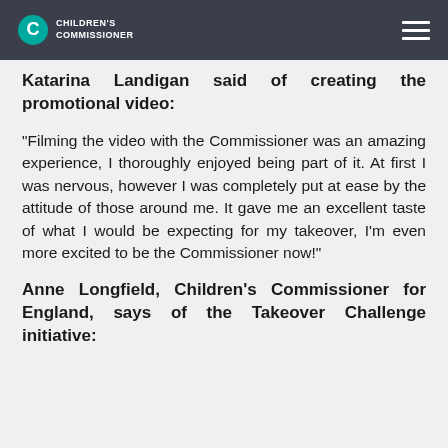Children's Commissioner
Katarina Landigan said of creating the promotional video:
“Filming the video with the Commissioner was an amazing experience, I thoroughly enjoyed being part of it. At first I was nervous, however I was completely put at ease by the attitude of those around me. It gave me an excellent taste of what I would be expecting for my takeover, I’m even more excited to be the Commissioner now!”
Anne Longfield, Children’s Commissioner for England, says of the Takeover Challenge initiative: